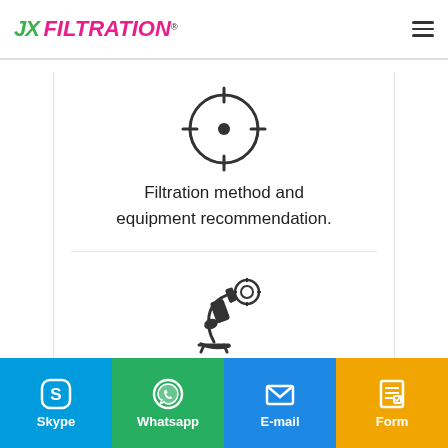JX FILTRATION®
[Figure (illustration): Crosshair/target icon — circle with crosshairs and center dot, dark outline]
Filtration method and equipment recommendation.
[Figure (illustration): Microscope-like icon with a globe or curved element and a gear/circle at top right, dark outline]
Free CAD or 3D drawing provided.
Skype  Whatsapp  E-mail  Form